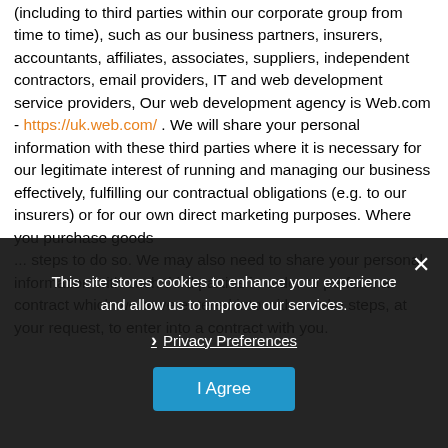(including to third parties within our corporate group from time to time), such as our business partners, insurers, accountants, affiliates, associates, suppliers, independent contractors, email providers, IT and web development service providers, Our web development agency is Web.com - https://uk.web.com/ . We will share your personal information with these third parties where it is necessary for our legitimate interest of running and managing our business effectively, fulfilling our contractual obligations (e.g. to our insurers) or for our own direct marketing purposes. Where you purchase goods ... steps to do so. We may also need to share your personal information with such third parties in order to perform a contract which we have entered into with ... take steps, at your request, to enter into a contract with you.
This site stores cookies to enhance your experience and allow us to improve our services.
Privacy Preferences
I Agree